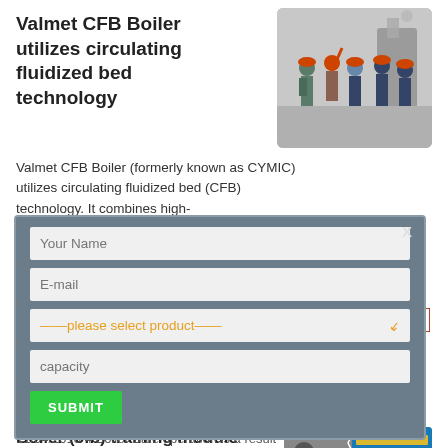Valmet CFB Boiler utilizes circulating fluidized bed technology
[Figure (photo): Group of workers/engineers in hardhats inside an industrial facility, pointing upward]
Valmet CFB Boiler (formerly known as CYMIC) utilizes circulating fluidized bed (CFB) technology. It combines high-
[Figure (screenshot): Modal dialog with form fields: Your Name, E-mail, please select product dropdown, capacity input, and SUBMIT button on grey background with X close button]
[Figure (photo): Chinese boiler manufacturer advertisement image with yellow Chinese text on blue background and industrial boiler equipment]
Boiler (cfb) training module – SlideShare
11/04/2018 4 Boiler Safe operation is a result